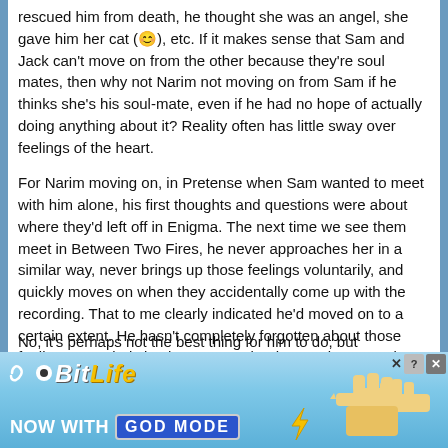rescued him from death, he thought she was an angel, she gave him her cat (😊), etc. If it makes sense that Sam and Jack can't move on from the other because they're soul mates, then why not Narim not moving on from Sam if he thinks she's his soul-mate, even if he had no hope of actually doing anything about it? Reality often has little sway over feelings of the heart.
For Narim moving on, in Pretense when Sam wanted to meet with him alone, his first thoughts and questions were about where they'd left off in Enigma. The next time we see them meet in Between Two Fires, he never approaches her in a similar way, never brings up those feelings voluntarily, and quickly moves on when they accidentally come up with the recording. That to me clearly indicated he'd moved on to a certain extent. He hasn't completely forgotten about those feelings or entirely let them go yet, but he's no longer acting on them in relation to Sam, which was a change from Pretense.
No, it's perhaps not the best thing for him to do, but
[Figure (screenshot): BitLife advertisement banner: 'BitLife - NOW WITH GOD MODE' with pointing hand graphics on a blue gradient background]